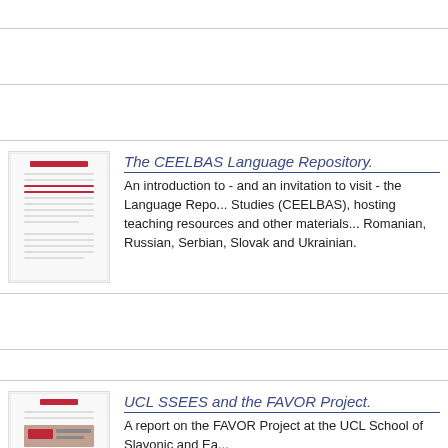[Figure (screenshot): Thumbnail of CEELBAS Language Repository document]
The CEELBAS Language Repository.
An introduction to - and an invitation to visit - the Language Repository of the Centre for East European Language-Based Area Studies (CEELBAS), hosting teaching resources and other materials for Bulgarian, Czech, Polish, Romanian, Russian, Serbian, Slovak and Ukrainian.
[Figure (screenshot): Thumbnail of UCL SSEES and the FAVOR Project document]
UCL SSEES and the FAVOR Project.
A report on the FAVOR Project at the UCL School of Slavonic and East European Studies.